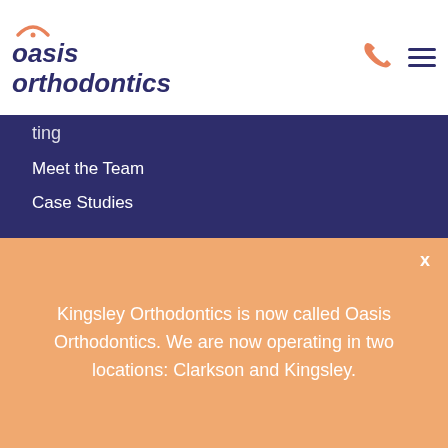[Figure (logo): Oasis Orthodontics logo with smile arc above text]
Meet the Team
Case Studies
SERVICES
Child Orthodontics
Teen Orthodontics
Adult Orthodontics
Fixed Appliances (Braces)
Clear Aligners
Kingsley Orthodontics is now called Oasis Orthodontics. We are now operating in two locations: Clarkson and Kingsley.